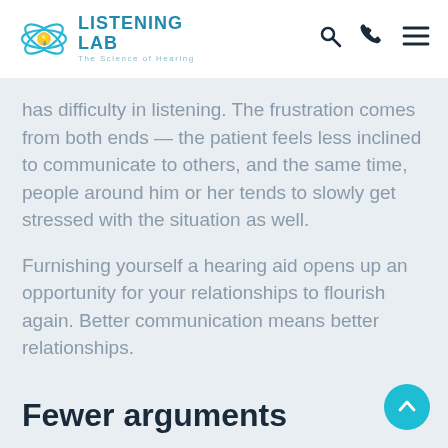Listening Lab — The Science of Hearing
has difficulty in listening. The frustration comes from both ends — the patient feels less inclined to communicate to others, and the same time, people around him or her tends to slowly get stressed with the situation as well.
Furnishing yourself a hearing aid opens up an opportunity for your relationships to flourish again. Better communication means better relationships.
Fewer arguments